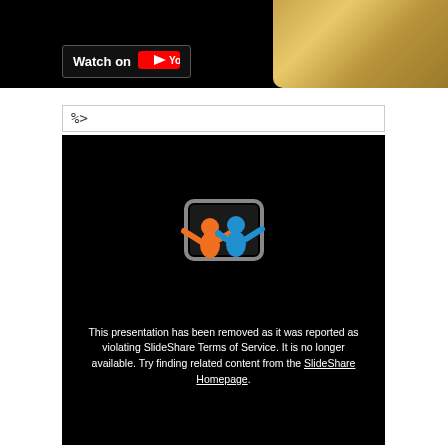[Figure (screenshot): YouTube video embed showing 'Watch on YouTube' button overlay on a dark bar with a gold/metallic object visible in the top right corner]
%>
[Figure (screenshot): SlideShare embed error message on black background with SlideShare logo (two figures holding up a presentation screen, one orange one blue). Text reads: 'This presentation has been removed as it was reported as violating SlideShare Terms of Service. It is no longer available. Try finding related content from the SlideShare Homepage.']